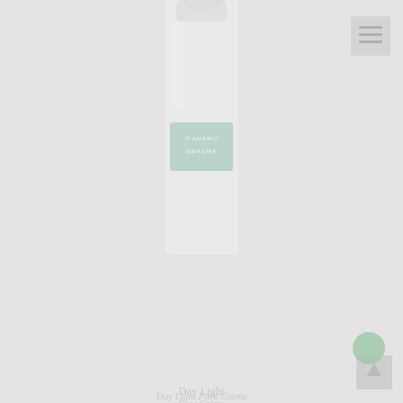[Figure (screenshot): Product page background showing a D'Adamo Genoma Day Light Face Crème bottle on a light gray background, with a hamburger menu icon in the top right corner.]
[Figure (screenshot): Modal popup overlay with close (X) button. Contains promotional text about a book titled 'Proactive Strategies for Healthy Aging' with a pink 'BUY THE BOOK' button.]
MY NEW BOOK AVAILABLE NOW -
Comprehensive Book Available Now. Get your Copy.
Proactive Strategies for Healthy Aging. A book that helps guide you to health through middle age and beyond.
BUY THE BOOK
Day Light Face Crème